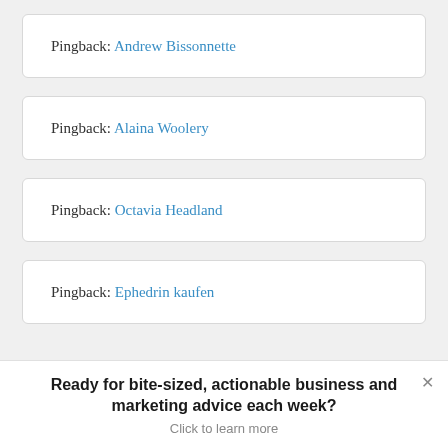Pingback: Andrew Bissonnette
Pingback: Alaina Woolery
Pingback: Octavia Headland
Pingback: Ephedrin kaufen
Ready for bite-sized, actionable business and marketing advice each week?
Click to learn more